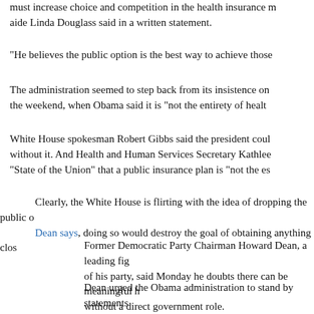must increase choice and competition in the health insurance market, aide Linda Douglass said in a written statement.
"He believes the public option is the best way to achieve those
The administration seemed to step back from its insistence on the weekend, when Obama said it is "not the entirety of health
White House spokesman Robert Gibbs said the president could without it. And Health and Human Services Secretary Kathleen "State of the Union" that a public insurance plan is "not the es
Clearly, the White House is flirting with the idea of dropping the public option. As Dean says, doing so would destroy the goal of obtaining anything clos
Former Democratic Party Chairman Howard Dean, a leading fig of his party, said Monday he doubts there can be meaningful health reform without a direct government role.
Dean urged the Obama administration to stand by statements made during the debate in which it steadfastly insisted that such a public option is essential for genuine change, saying that Medicare and the Veterans Administration are "both good programs that have been around for a long time."